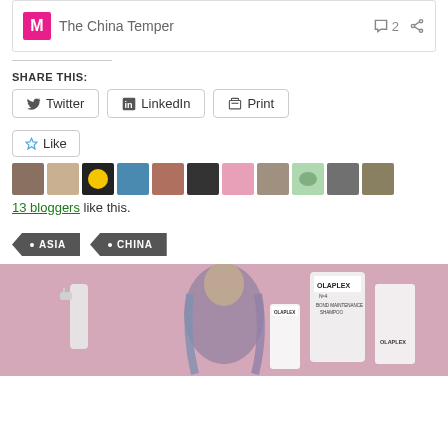The China Temper — 2 comments, share
SHARE THIS:
Twitter | LinkedIn | Print
Like — 13 bloggers like this.
ASIA • CHINA
[Figure (photo): Advertisement photo for OLAPLEX hair products showing bottles including No.4 Bond Maintenance Shampoo alongside a person with long colorful hair]